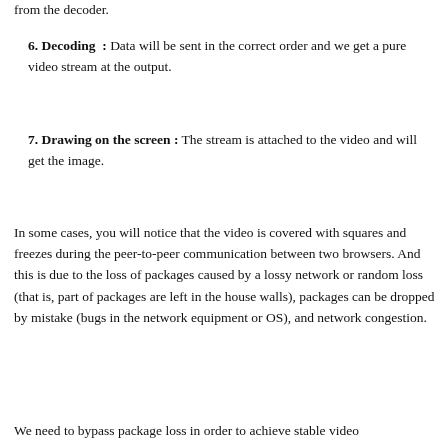from the decoder.
6. Decoding : Data will be sent in the correct order and we get a pure video stream at the output.
7. Drawing on the screen : The stream is attached to the video and will get the image.
In some cases, you will notice that the video is covered with squares and freezes during the peer-to-peer communication between two browsers. And this is due to the loss of packages caused by a lossy network or random loss (that is, part of packages are left in the house walls), packages can be dropped by mistake (bugs in the network equipment or OS), and network congestion.
We need to bypass package loss in order to achieve stable video